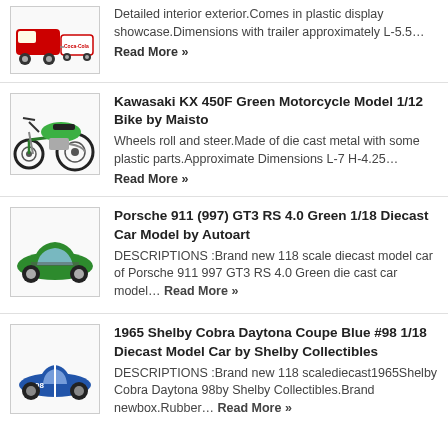[Figure (photo): Coca-Cola VW bus with trailer toy model, red and white]
Detailed interior exterior.Comes in plastic display showcase.Dimensions with trailer approximately L-5.5… Read More »
[Figure (photo): Kawasaki KX 450F green dirt motorcycle model]
Kawasaki KX 450F Green Motorcycle Model 1/12 Bike by Maisto
Wheels roll and steer.Made of die cast metal with some plastic parts.Approximate Dimensions L-7 H-4.25… Read More »
[Figure (photo): Porsche 911 (997) GT3 RS 4.0 green diecast car model]
Porsche 911 (997) GT3 RS 4.0 Green 1/18 Diecast Car Model by Autoart
DESCRIPTIONS :Brand new 118 scale diecast model car of Porsche 911 997 GT3 RS 4.0 Green die cast car model… Read More »
[Figure (photo): 1965 Shelby Cobra Daytona Coupe blue #98 diecast model car]
1965 Shelby Cobra Daytona Coupe Blue #98 1/18 Diecast Model Car by Shelby Collectibles
DESCRIPTIONS :Brand new 118 scalediecast1965Shelby Cobra Daytona 98by Shelby Collectibles.Brand newbox.Rubber… Read More »